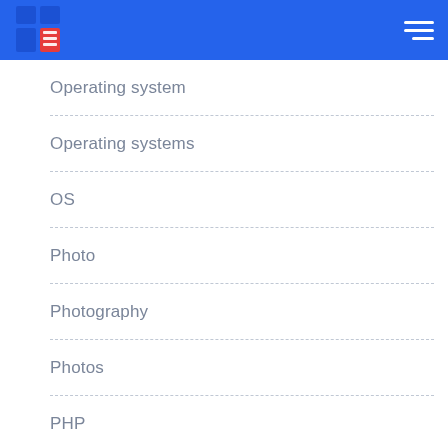Operating system
Operating systems
OS
Photo
Photography
Photos
PHP